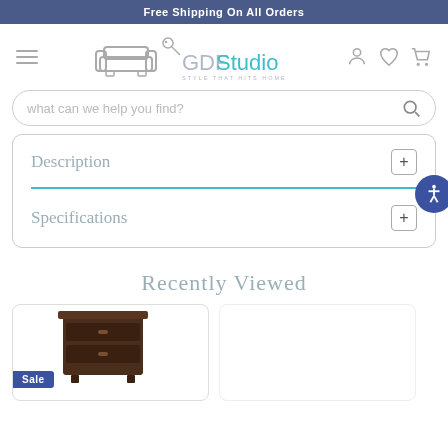Free Shipping On All Orders
[Figure (logo): GDFStudio logo with sofa icon and tagline 'STYLE THAT HITS HOME']
what can we help you find?
Description
Specifications
Recently Viewed
[Figure (photo): Dark espresso wood nightstand/dresser with Sale badge]